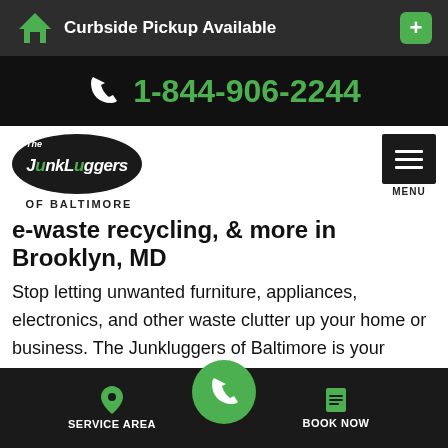Curbside Pickup Available
1-844-906-2244
[Figure (logo): The Junkluggers of Baltimore logo with oval black background and green accent letters]
e-waste recycling, & more in Brooklyn, MD
Stop letting unwanted furniture, appliances, electronics, and other waste clutter up your home or business. The Junkluggers of Baltimore is your source for all things junk removal in Brooklyn, MD. So whether you need to remove a large
SERVICE AREA   BOOK NOW